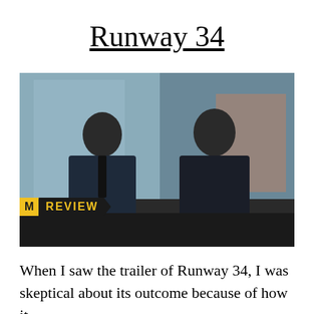Runway 34
[Figure (photo): Two men in dark suits facing each other in a cinematic still from the movie Runway 34. A yellow and black 'REVIEW' badge overlay is visible at the bottom left of the image.]
When I saw the trailer of Runway 34, I was skeptical about its outcome because of how it